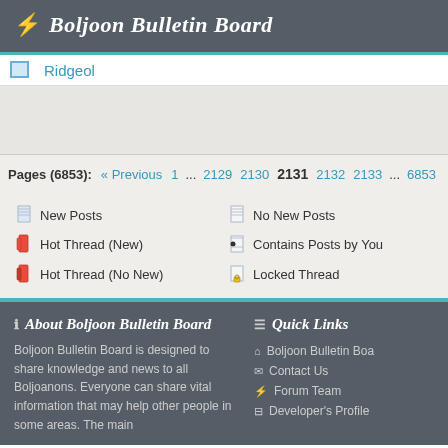Boljoon Bulletin Board
Ridgeol
Pages (6853): « Previous  1  ...  2129  2130  2131  2132  2133  ...  6853
New Posts
Hot Thread (New)
Hot Thread (No New)
No New Posts
Contains Posts by You
Locked Thread
About Boljoon Bulletin Board
Boljoon Bulletin Board is designed to share knowledge and news to all Boljoanons. Everyone can share vital information that may help other people in some areas. The main
Quick Links
Boljoon Bulletin Boa
Contact Us
Forum Team
Developer's Profile